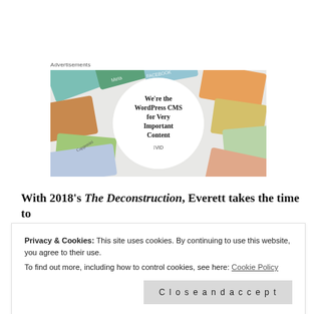Advertisements
[Figure (illustration): Advertisement banner for WordPress CMS 'VID' showing colorful cards with brand logos (Meta, Facebook, Capgemini, etc.) arranged around a white circle with bold text: We're the WordPress CMS for Very Important Content, with a WVid logo at the bottom.]
With 2018's The Deconstruction, Everett takes the time to
Privacy & Cookies: This site uses cookies. By continuing to use this website, you agree to their use.
To find out more, including how to control cookies, see here: Cookie Policy
Close and accept
anymore in a way that suits Jeannie. All the bravado,